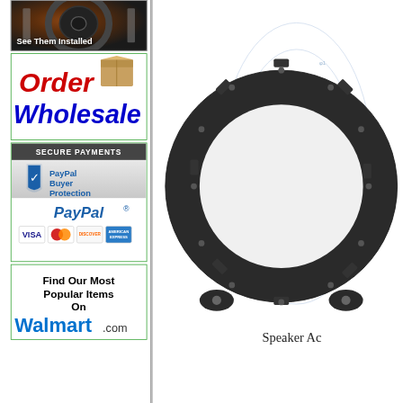[Figure (photo): Speaker installed photo with text overlay 'See Them Installed']
[Figure (infographic): Order Wholesale banner with red 'Order' text, blue 'Wholesale' text, and a cardboard box icon]
[Figure (infographic): Secure Payments section with PayPal Buyer Protection shield logo, PayPal logo, and credit card logos (Visa, MasterCard, Discover, AmEx)]
[Figure (infographic): Find Our Most Popular Items On Walmart.com banner]
[Figure (photo): Speaker adapter ring product image - circular black plastic speaker mounting ring with technical drawing overlay]
Speaker Ac